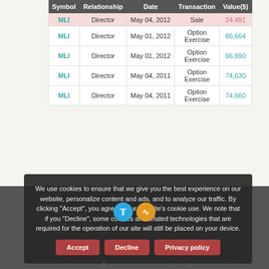| Symbol | Relationship | Date | Transaction | Value($) |
| --- | --- | --- | --- | --- |
| MLI | Director | May 04, 2012 | Sale | 24,491 |
| MLI | Director | May 01, 2012 | Option Exercise | 66,664 |
| MLI | Director | May 01, 2012 | Option Exercise | 66,690 |
| MLI | Director | May 04, 2011 | Option Exercise | 74,630 |
| MLI | Director | May 04, 2011 | Option Exercise | 74,660 |
We use cookies to ensure that we give you the best experience on our website, personalize content and ads, and to analyze our traffic. By clicking "Accept", you agree to our website's cookie use. We note that if you "Decline", some cookies and related technologies that are required for the operation of our site will still be placed on your device.
© 2005 - 2022, InsideArbitrage.com. Please read Privacy Policy and Terms of Use